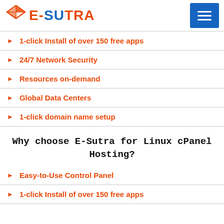E-SUTRA
1-click Install of over 150 free apps
24/7 Network Security
Resources on-demand
Global Data Centers
1-click domain name setup
Why choose E-Sutra for Linux cPanel Hosting?
Easy-to-Use Control Panel
1-click Install of over 150 free apps